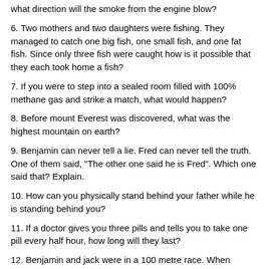what direction will the smoke from the engine blow?
6. Two mothers and two daughters were fishing. They managed to catch one big fish, one small fish, and one fat fish. Since only three fish were caught how is it possible that they each took home a fish?
7. If you were to step into a sealed room filled with 100% methane gas and strike a match, what would happen?
8. Before mount Everest was discovered, what was the highest mountain on earth?
9. Benjamin can never tell a lie. Fred can never tell the truth. One of them said, "The other one said he is Fred". Which one said that? Explain.
10. How can you physically stand behind your father while he is standing behind you?
11. If a doctor gives you three pills and tells you to take one pill every half hour, how long will they last?
12. Benjamin and jack were in a 100 metre race. When Benjamin crossed the finish line, jack was only at the 90 metre mark. Benjamin suggested they run another race. This time, Benjamin would start 10